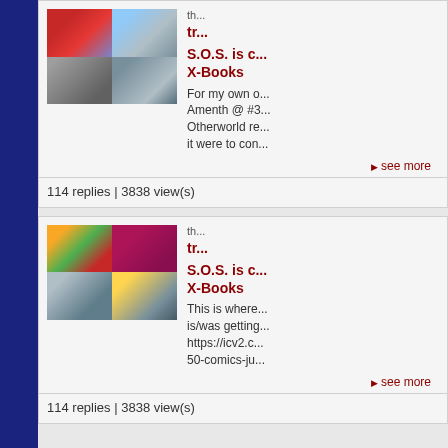[Figure (screenshot): Web forum page showing two comic book discussion thread cards. Left sidebar is dark navy blue. Each card has a 2x2 thumbnail grid of comic artwork, a thread title in dark red 'S.O.S. is c... X-Books', a text snippet, a 'see more' link, and '114 replies | 3838 view(s)' at the bottom.]
S.O.S. is c... X-Books
For my own o... Amenth @ #... Otherworld re... it were to con...
▶ see more
114 replies | 3838 view(s)
S.O.S. is c... X-Books
This is where... is/was getting... https://icv2.c... 50-comics-ju...
▶ see more
114 replies | 3838 view(s)